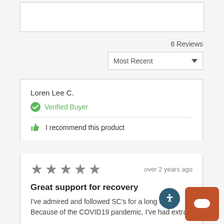6 Reviews
Most Recent
Loren Lee C.
Verified Buyer
I recommend this product
[Figure (other): 5 grey star rating icons]
over 2 years ago
Great support for recovery
I've admired and followed SC's for a long time. Because of the COVID19 pandemic, I've had extra